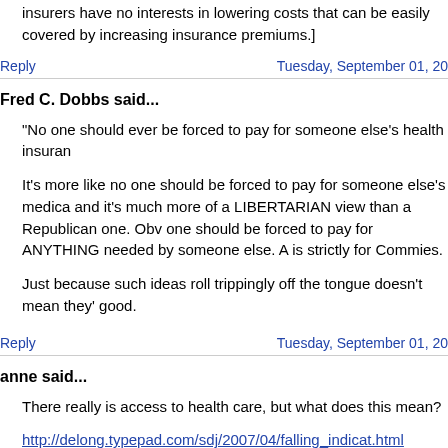insurers have no interests in lowering costs that can be easily covered by increasing insurance premiums.]
Reply
Tuesday, September 01, 20
Fred C. Dobbs said...
"No one should ever be forced to pay for someone else's health insuran
It's more like no one should be forced to pay for someone else's medica and it's much more of a LIBERTARIAN view than a Republican one. Obv one should be forced to pay for ANYTHING needed by someone else. A is strictly for Commies.
Just because such ideas roll trippingly off the tongue doesn't mean they' good.
Reply
Tuesday, September 01, 20
anne said...
There really is access to health care, but what does this mean?
http://delong.typepad.com/sdj/2007/04/falling_indicat.html
April 23, 2007